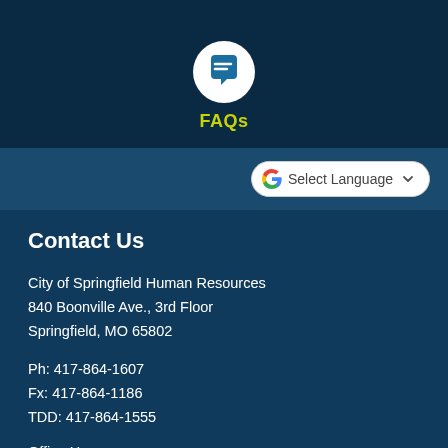[Figure (illustration): White circle icon with a speech bubble / chat icon in blue, on dark navy background]
FAQs
[Figure (screenshot): Google Translate widget button with 'G' logo and 'Select Language' dropdown]
Contact Us
City of Springfield Human Resources
840 Boonville Ave., 3rd Floor
Springfield, MO 65802
Ph: 417-864-1607
Fx: 417-864-1186
TDD: 417-864-1555
Office Hours: